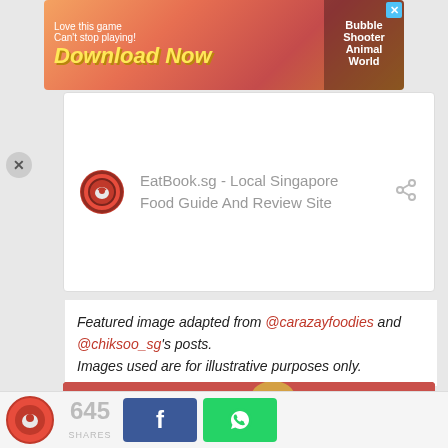[Figure (screenshot): Mobile game advertisement banner: 'Love this game Can't stop playing! Download Now - Bubble Shooter Animal World']
[Figure (screenshot): EatBook.sg share card with site logo, site name 'EatBook.sg - Local Singapore Food Guide And Review Site', and share icon]
Featured image adapted from @carazayfoodies and @chiksoo_sg's posts.
Images used are for illustrative purposes only.
[Figure (illustration): Food illustration on pink/red background showing a cleaver with rooster design, wooden spoon, drink with straw, and bowl of seafood/prawns]
645 SHARES | Facebook share button | WhatsApp share button